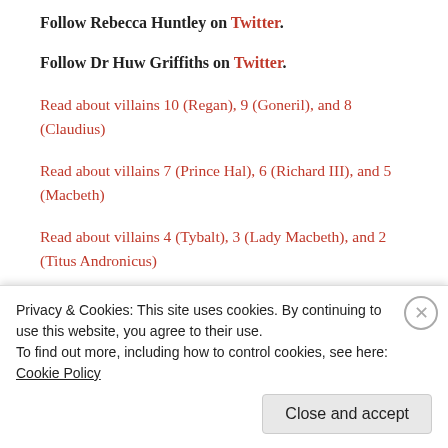Follow Rebecca Huntley on Twitter.
Follow Dr Huw Griffiths on Twitter.
Read about villains 10 (Regan), 9 (Goneril), and 8 (Claudius)
Read about villains 7 (Prince Hal), 6 (Richard III), and 5 (Macbeth)
Read about villains 4 (Tybalt), 3 (Lady Macbeth), and 2 (Titus Andronicus)
TOP 10 SHAKESPEAREAN VILLAINS: NUMBER 1 was originally published on Shakespeare for Kids Books
Privacy & Cookies: This site uses cookies. By continuing to use this website, you agree to their use.
To find out more, including how to control cookies, see here: Cookie Policy